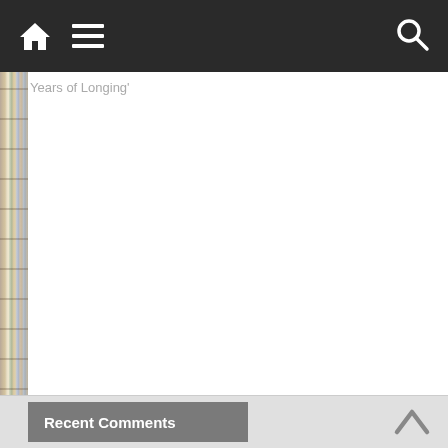Navigation bar with home, menu, and search icons
Years of Longing'
Recent Comments